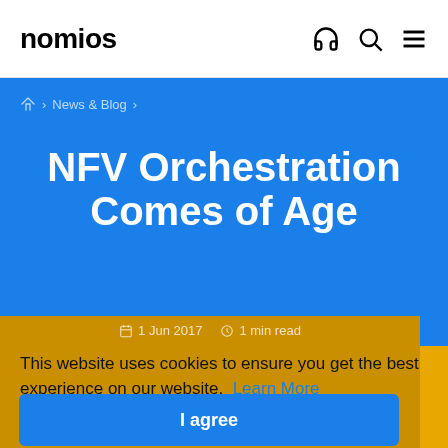nomios
News & Blog
NFV Orchestration Comes of Age
1 Jun 2017   1 min read
This website uses cookies to ensure you get the best experience on our website. Learn More
I agree